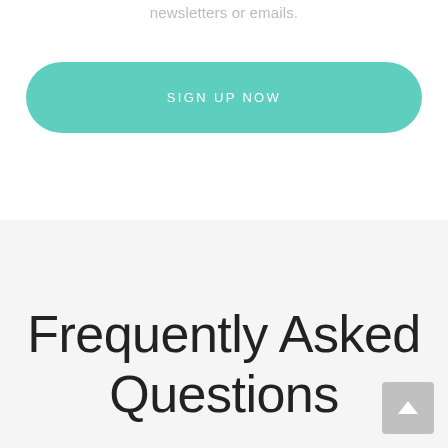newsletters or emails.
SIGN UP NOW
Frequently Asked Questions